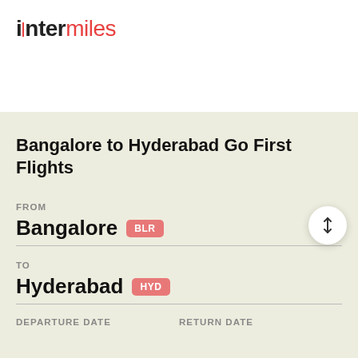[Figure (logo): InterMiles logo with 'inter' in dark bold and 'miles' in red, with a red vertical bar between them]
Bangalore to Hyderabad Go First Flights
FROM
Bangalore BLR
TO
Hyderabad HYD
DEPARTURE DATE
RETURN DATE